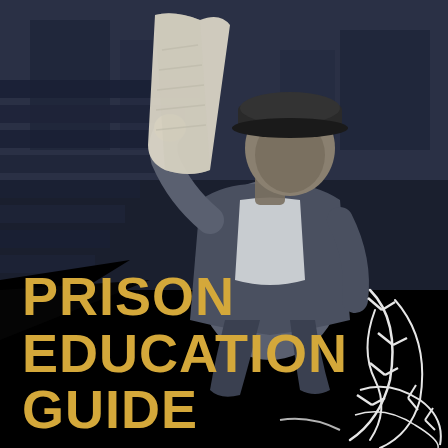[Figure (illustration): Stylized high-contrast grayscale/blue-toned illustration of a person wearing a hard hat and work clothes, sitting and holding up a large sheet of paper. Background shows an industrial or urban setting. White barbed wire graphic overlaid in lower right corner. Black area in lower portion of image.]
PRISON EDUCATION GUIDE